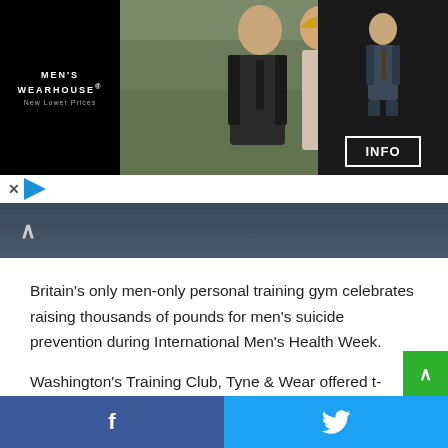[Figure (photo): Men's Wearhouse advertisement banner showing a couple in formal wear and a child in a suit, with an INFO button]
Britain's only men-only personal training gym celebrates raising thousands of pounds for men's suicide prevention during International Men's Health Week.
Washington's Training Club, Tyne & Wear offered t-shirts and hosted a talk on mental health and well-being with motivational speaker and author Paul Mort and climbed the Yorkshire Three Peaks earlier in the year.
The gym raised a total of £2,985.00 for Andy's Man Club, a